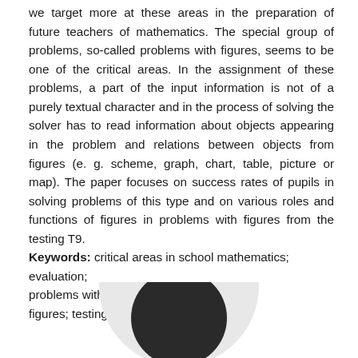we target more at these areas in the preparation of future teachers of mathematics. The special group of problems, so-called problems with figures, seems to be one of the critical areas. In the assignment of these problems, a part of the input information is not of a purely textual character and in the process of solving the solver has to read information about objects appearing in the problem and relations between objects from figures (e. g. scheme, graph, chart, table, picture or map). The paper focuses on success rates of pupils in solving problems of this type and on various roles and functions of figures in problems with figures from the testing T9.
Keywords: critical areas in school mathematics; evaluation; problems with figures; roles of figures; testing.
[Figure (photo): Partial circular photo element at bottom center of page, showing top of a person's head (dark hair) against a light grey circular background]